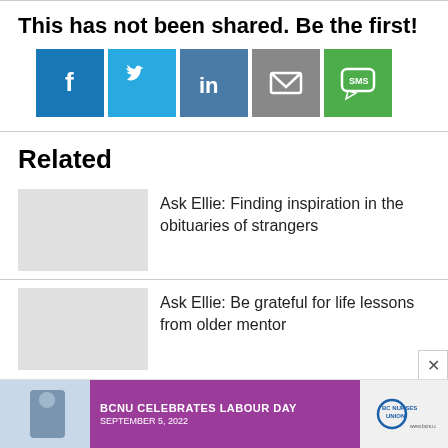This has not been shared. Be the first!
[Figure (infographic): Social share buttons: Facebook (blue), Twitter (light blue), LinkedIn (steel blue), Email (grey), SMS (green)]
Related
Ask Ellie: Finding inspiration in the obituaries of strangers
Ask Ellie: Be grateful for life lessons from older mentor
[Figure (infographic): Advertisement banner: BCNU Celebrates Labour Day, September 5, 2022, BC Nurses Union logo]